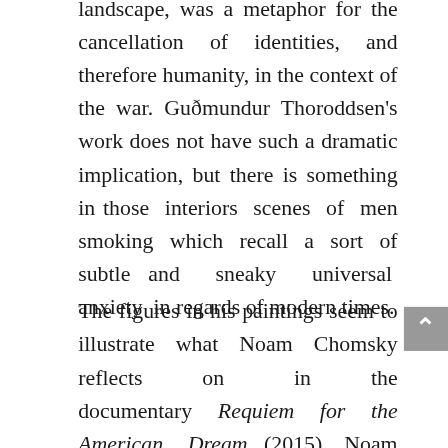landscape, was a metaphor for the cancellation of identities, and therefore humanity, in the context of the war. Guðmundur Thoroddsen's work does not have such a dramatic implication, but there is something in those interiors scenes of men smoking which recall a sort of subtle and sneaky universal anxiety in regards of modern times.
The figures in his paintings seem to illustrate what Noam Chomsky reflects on in the documentary Requiem for the American Dream (2015). Noam Chomsky talks about the changes in